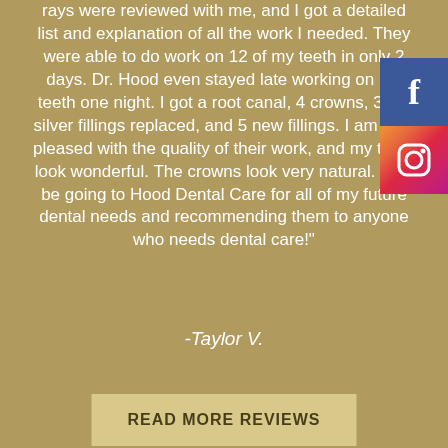rays were reviewed with me, and I got a detailed list and explanation of all the work I needed. They were able to do work on 12 of my teeth in only 2 days. Dr. Hood even stayed late working on my teeth one night. I got a root canal, 4 crowns, 3 old silver fillings replaced, and 5 new fillings. I am very pleased with the quality of their work, and my teeth look wonderful. The crowns look very natural. I will be going to Hood Dental Care for all of my future dental needs and recommending them to anyone who needs dental care!"
-Taylor V.
READ MORE REVIEWS